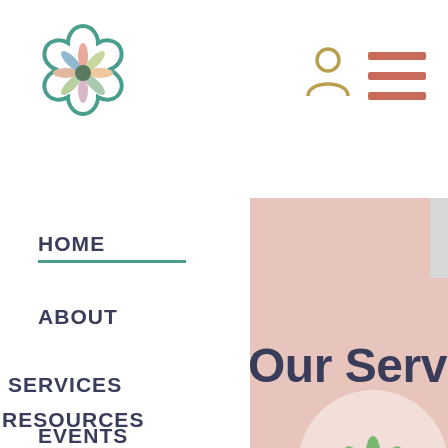[Figure (logo): Floral/geometric teal octagonal logo with colorful flower petals inside]
[Figure (other): User account icon (person silhouette in olive/gold color)]
[Figure (other): Hamburger menu icon with three horizontal red/salmon lines]
HOME
ABOUT
SERVICES
RESOURCES
EVENTS
Our Services
[Figure (illustration): Green flower/snowflake illustration inside a white circle on pink background]